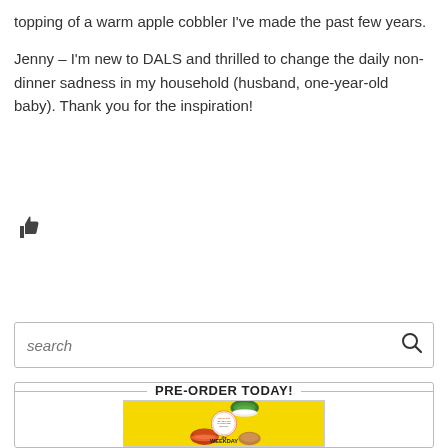topping of a warm apple cobbler I've made the past few years.
Jenny – I'm new to DALS and thrilled to change the daily non-dinner sadness in my household (husband, one-year-old baby). Thank you for the inspiration!
[Figure (other): Thumbs up icon]
Reply
search
PRE-ORDER TODAY!
[Figure (photo): Book cover for 'The Weekday' cookbook with yellow background, food photos of bowls with greens and pasta, and a circular badge reading '100 Recipes and a real-life plan for eating less meat']